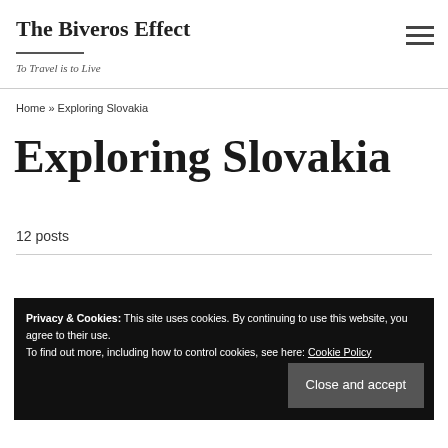The Biveros Effect
To Travel is to Live
Home » Exploring Slovakia
Exploring Slovakia
12 posts
Privacy & Cookies: This site uses cookies. By continuing to use this website, you agree to their use.
To find out more, including how to control cookies, see here: Cookie Policy
Close and accept